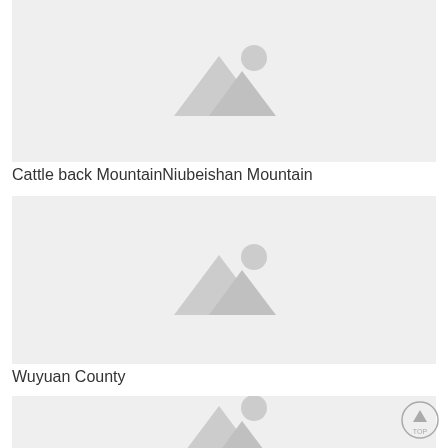[Figure (photo): Image placeholder for Cattle back Mountain/Niubeishan Mountain — grey background with mountain and sun icon]
Cattle back MountainNiubeishan Mountain
[Figure (photo): Image placeholder for Wuyuan County — grey background with mountain and sun icon]
Wuyuan County
[Figure (photo): Image placeholder (partial, bottom of page) — grey background with mountain and sun icon]